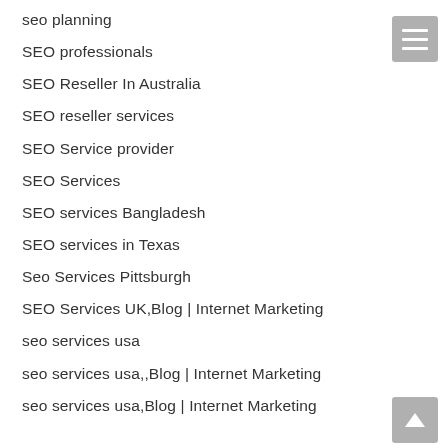seo planning
SEO professionals
SEO Reseller In Australia
SEO reseller services
SEO Service provider
SEO Services
SEO services Bangladesh
SEO services in Texas
Seo Services Pittsburgh
SEO Services UK,Blog | Internet Marketing
seo services usa
seo services usa,,Blog | Internet Marketing
seo services usa,Blog | Internet Marketing